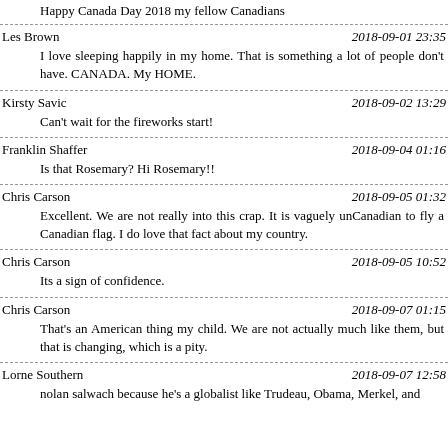Happy Canada Day 2018 my fellow Canadians
Les Brown — 2018-09-01 23:35
I love sleeping happily in my home. That is something a lot of people don't have. CANADA. My HOME.
Kirsty Savic — 2018-09-02 13:29
Can't wait for the fireworks start!
Franklin Shaffer — 2018-09-04 01:16
Is that Rosemary? Hi Rosemary!!
Chris Carson — 2018-09-05 01:32
Excellent. We are not really into this crap. It is vaguely unCanadian to fly a Canadian flag. I do love that fact about my country.
Chris Carson — 2018-09-05 10:52
Its a sign of confidence.
Chris Carson — 2018-09-07 01:15
That's an American thing my child. We are not actually much like them, but that is changing, which is a pity.
Lorne Southern — 2018-09-07 12:58
nolan salwach because he's a globalist like Trudeau, Obama, Merkel, and